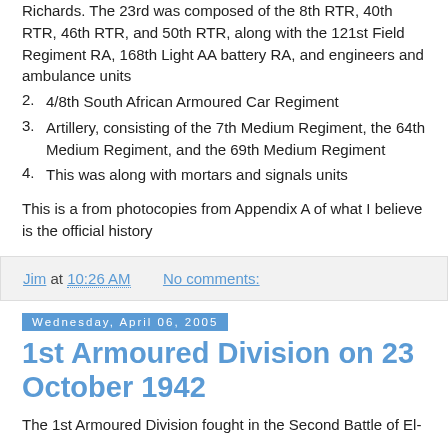Richards. The 23rd was composed of the 8th RTR, 40th RTR, 46th RTR, and 50th RTR, along with the 121st Field Regiment RA, 168th Light AA battery RA, and engineers and ambulance units
2. 4/8th South African Armoured Car Regiment
3. Artillery, consisting of the 7th Medium Regiment, the 64th Medium Regiment, and the 69th Medium Regiment
4. This was along with mortars and signals units
This is a from photocopies from Appendix A of what I believe is the official history
Jim at 10:26 AM    No comments:
Wednesday, April 06, 2005
1st Armoured Division on 23 October 1942
The 1st Armoured Division fought in the Second Battle of El-